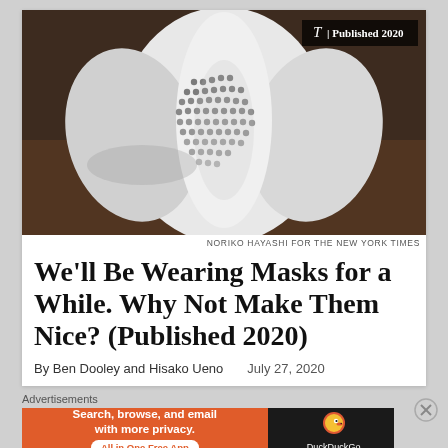[Figure (photo): Close-up photo of a white sculptural face mask with a grid of small ventilation holes, placed on a wooden surface. Badge overlay reads: T | Published 2020]
NORIKO HAYASHI FOR THE NEW YORK TIMES
We’ll Be Wearing Masks for a While. Why Not Make Them Nice? (Published 2020)
By Ben Dooley and Hisako Ueno    July 27, 2020
Advertisements
[Figure (screenshot): DuckDuckGo advertisement banner: orange section with text 'Search, browse, and email with more privacy. All in One Free App' and dark section with DuckDuckGo logo and wordmark.]